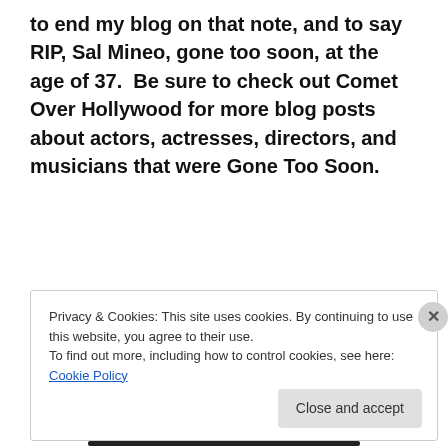to end my blog on that note, and to say RIP, Sal Mineo, gone too soon, at the age of 37.  Be sure to check out Comet Over Hollywood for more blog posts about actors, actresses, directors, and musicians that were Gone Too Soon.
[Figure (other): WordPress VIP advertisement banner with colorful book covers in background and 'Learn more →' button]
Privacy & Cookies: This site uses cookies. By continuing to use this website, you agree to their use.
To find out more, including how to control cookies, see here: Cookie Policy